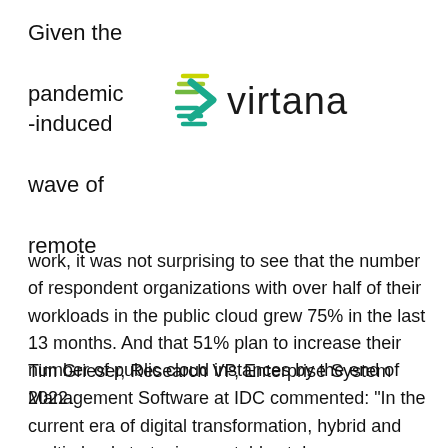Given the pandemic-induced wave of remote work, it was not surprising to see that the number of respondent organizations with over half of their workloads in the public cloud grew 75% in the last 13 months. And that 51% plan to increase their number of public cloud instances by the end of 2022.
[Figure (logo): Virtana logo with a green and yellow chevron/speed-lines icon on the left and the word 'virtana' in dark text on the right]
Tim Grieser, Research VP, Enterprise System Management Software at IDC commented: "In the current era of digital transformation, hybrid and multi-cloud strategies are table stakes. Management of these critical environments is essential in order to have a true